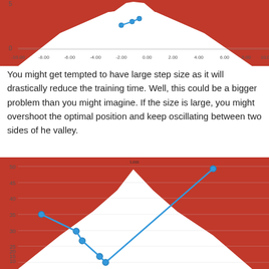[Figure (continuous-plot): Top portion of a line chart showing gradient descent path on a parabolic loss surface. Orange/red filled region forms a U-shape (valley), white region in center. Blue dots connected by line show descent path moving right along the bottom of the valley from around x=-3 to x=-1. Y-axis shows 0-5 (partial), X-axis spans -10 to 10.]
You might get tempted to have large step size as it will drastically reduce the training time. Well, this could be a bigger problem than you might imagine. If the size is large, you might overshoot the optimal position and keep oscillating between two sides of he valley.
[Figure (continuous-plot): Line chart showing gradient descent with large step size oscillating between two sides of a valley. Orange/red filled parabolic background. White V-shaped valley. Blue line and dots show path: starts at approximately (-8, 30), goes to (-5, 23), (-4.5, 19), (-4, 11), (-4, 8), then jumps to (7, 49) — oscillating across the valley. Y-axis: 10 to 50. Title label 'Loss' at top center.]